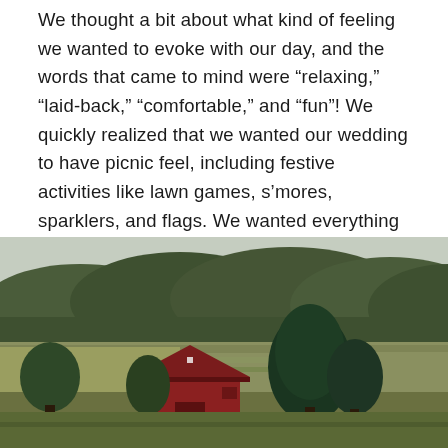We thought a bit about what kind of feeling we wanted to evoke with our day, and the words that came to mind were “relaxing,” “laid-back,” “comfortable,” and “fun”! We quickly realized that we wanted our wedding to have picnic feel, including festive activities like lawn games, s’mores, sparklers, and flags. We wanted everything to be outdoors, and we generally wanted our guests to be able to kick back, relax, and have a genuinely good time.
[Figure (photo): Rural farm scene showing a red barn surrounded by green trees, with open fields in the foreground and a densely wooded hillside in the background under an overcast sky.]